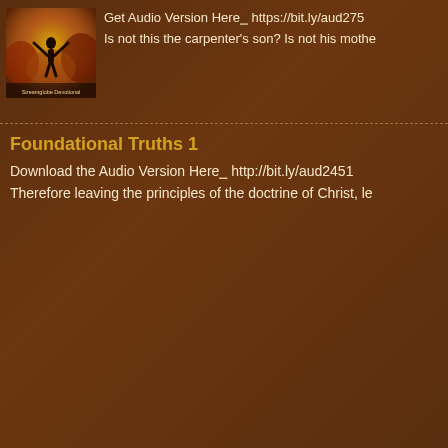[Figure (photo): Thumbnail image of a person with arms raised against an autumn/golden outdoor background, with text 'Streamglobe Devotional' at the bottom]
Get Audio Version Here☞ https://bit.ly/aud275
Is not this the carpenter's son? Is not his mothe
Foundational Truths 1
Download the Audio Version Here☞ http://bit.ly/aud2451
Therefore leaving the principles of the doctrine of Christ, le